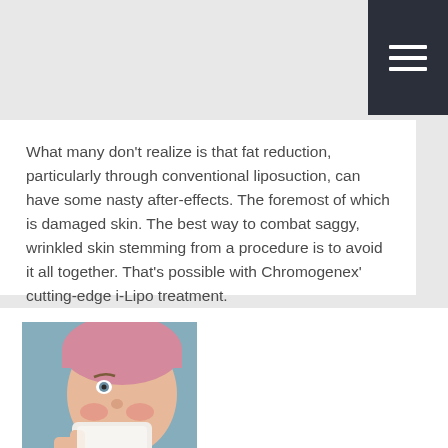What many don't realize is that fat reduction, particularly through conventional liposuction, can have some nasty after-effects. The foremost of which is damaged skin. The best way to combat saggy, wrinkled skin stemming from a procedure is to avoid it all together. That's possible with Chromogenex' cutting-edge i-Lipo treatment.
Read More
[Figure (photo): Woman wearing a pink hat blowing her nose into a white tissue, looking unwell]
Common Cold
Treatment for Sneezing, Coughing Sniffling & More